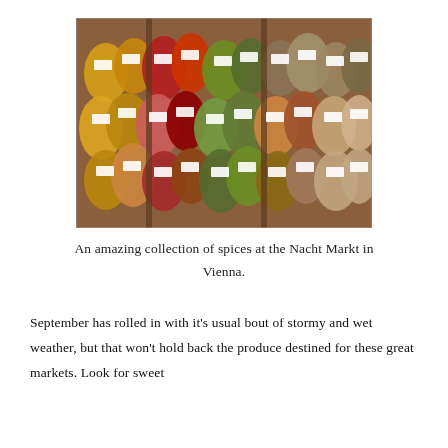[Figure (photo): A large display of colorful spices in clear plastic bags with white price tags, arranged on wooden shelves at the Nacht Markt in Vienna.]
An amazing collection of spices at the Nacht Markt in Vienna.
September has rolled in with it's usual bout of stormy and wet weather, but that won't hold back the produce destined for these great markets. Look for sweet